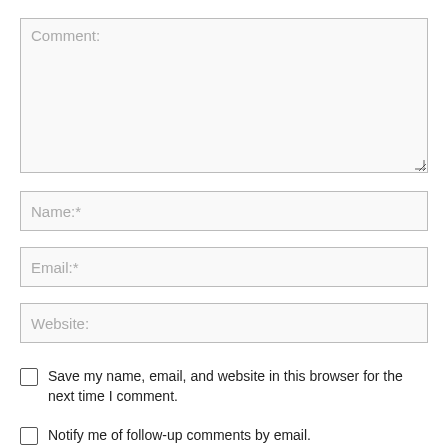Comment:
Name:*
Email:*
Website:
Save my name, email, and website in this browser for the next time I comment.
Notify me of follow-up comments by email.